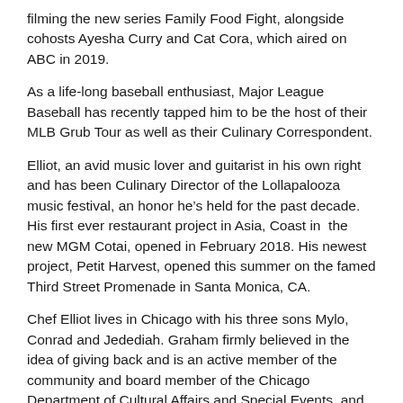filming the new series Family Food Fight, alongside cohosts Ayesha Curry and Cat Cora, which aired on ABC in 2019.
As a life-long baseball enthusiast, Major League Baseball has recently tapped him to be the host of their MLB Grub Tour as well as their Culinary Correspondent.
Elliot, an avid music lover and guitarist in his own right and has been Culinary Director of the Lollapalooza music festival, an honor he’s held for the past decade. His first ever restaurant project in Asia, Coast in  the new MGM Cotai, opened in February 2018. His newest project, Petit Harvest, opened this summer on the famed Third Street Promenade in Santa Monica, CA.
Chef Elliot lives in Chicago with his three sons Mylo, Conrad and Jedediah. Graham firmly believed in the idea of giving back and is an active member of the community and board member of the Chicago Department of Cultural Affairs and Special Events, and is also extensively involved in multiple charitable organizations including Share Our Strength, the American Heart Association and Smile Train to name a few.